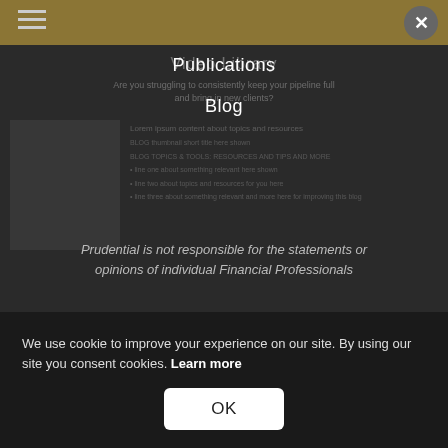Video Library
Are you struggling to consistently keep your pipeline full and bring in new clients?
Publications
Blog
Prudential is not responsible for the statements or opinions of individual Financial Professionals
Type your name
We use cookie to improve your experience on our site. By using our site you consent cookies. Learn more
OK